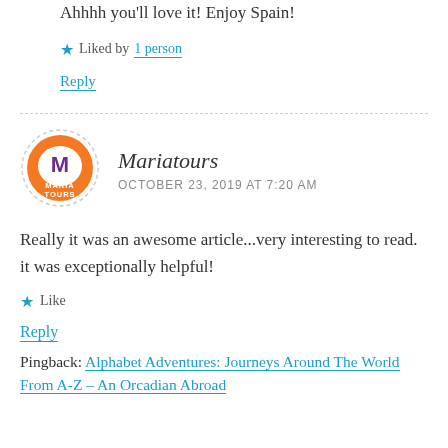Ahhhh you'll love it! Enjoy Spain!
★ Liked by 1 person
Reply
[Figure (logo): Maria Tours circular logo with orange border, purple M in center and MARIA TOURS text below]
Mariatours
OCTOBER 23, 2019 AT 7:20 AM
Really it was an awesome article...very interesting to read. it was exceptionally helpful!
★ Like
Reply
Pingback: Alphabet Adventures: Journeys Around The World From A-Z – An Orcadian Abroad